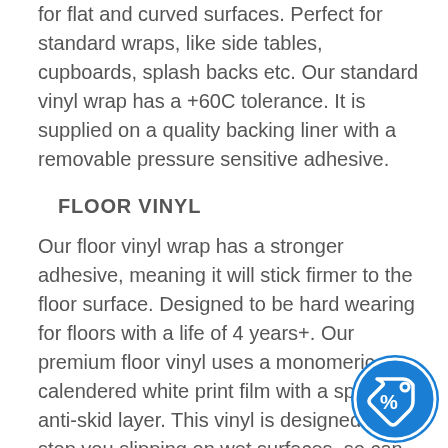for flat and curved surfaces. Perfect for standard wraps, like side tables, cupboards, splash backs etc. Our standard vinyl wrap has a +60C tolerance. It is supplied on a quality backing liner with a removable pressure sensitive adhesive.
FLOOR VINYL
Our floor vinyl wrap has a stronger adhesive, meaning it will stick firmer to the floor surface. Designed to be hard wearing for floors with a life of 4 years+. Our premium floor vinyl uses a monomeric calendered white print film with a special anti-skid layer. This vinyl is designed to stop you slipping on wet surfaces, so can be used in the kitchen/bathroom. This vinyl is also great for heavily used worktops, tables and surfaces.
[Figure (illustration): A blue circular badge/button with a price tag icon containing a percent symbol]